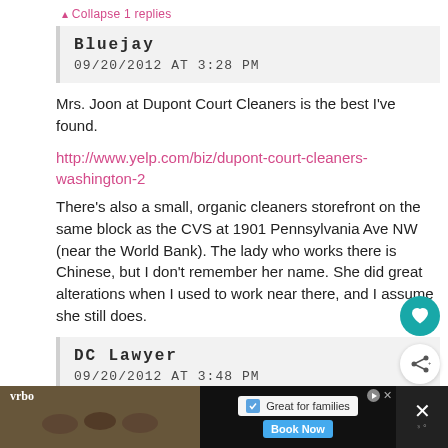▴ Collapse 1 replies
Bluejay
09/20/2012 AT 3:28 PM
Mrs. Joon at Dupont Court Cleaners is the best I've found.
http://www.yelp.com/biz/dupont-court-cleaners-washington-2
There's also a small, organic cleaners storefront on the same block as the CVS at 1901 Pennsylvania Ave NW (near the World Bank). The lady who works there is Chinese, but I don't remember her name. She did great alterations when I used to work near there, and I assume she still does.
DC Lawyer
09/20/2012 AT 3:48 PM
[Figure (screenshot): Advertisement banner at bottom: Vrbo ad with image of people on bikes, checkbox saying 'Great for families', Book Now button, and X close button]